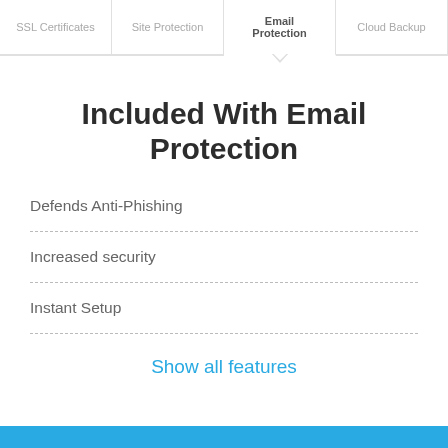SSL Certificates | Site Protection | Email Protection | Cloud Backup
Included With Email Protection
Defends Anti-Phishing
Increased security
Instant Setup
Show all features